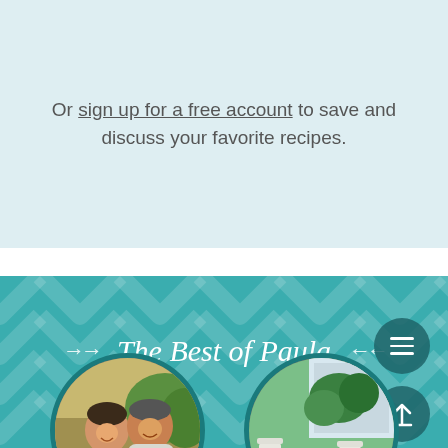Or sign up for a free account to save and discuss your favorite recipes.
The Best of Paula
[Figure (photo): Two men smiling outdoors, circular cropped photo]
[Figure (photo): Outdoor garden dining area with white furniture and yellow flowers, circular cropped photo]